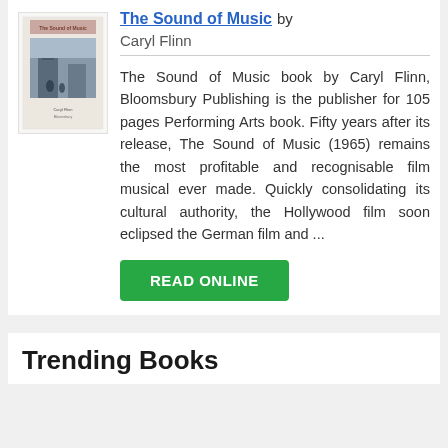[Figure (illustration): Book cover thumbnail for The Sound of Music by Caryl Flinn, showing a building/scene image with text on a light background]
The Sound of Music by
Caryl Flinn
The Sound of Music book by Caryl Flinn, Bloomsbury Publishing is the publisher for 105 pages Performing Arts book. Fifty years after its release, The Sound of Music (1965) remains the most profitable and recognisable film musical ever made. Quickly consolidating its cultural authority, the Hollywood film soon eclipsed the German film and ...
READ ONLINE
Trending Books